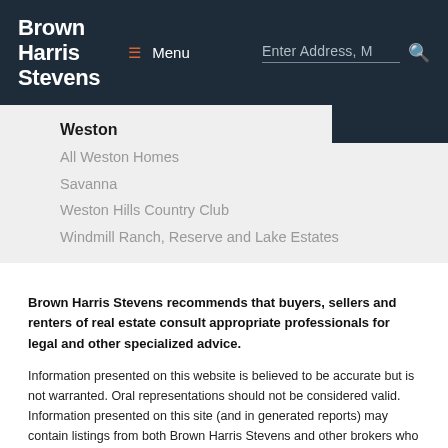Brown Harris Stevens
Weston
All Weston Homes
Savanna
Weston Hills Country Club
Windmill Ranch, Reserve and Lake Estates
Brown Harris Stevens recommends that buyers, sellers and renters of real estate consult appropriate professionals for legal and other specialized advice.
Information presented on this website is believed to be accurate but is not warranted. Oral representations should not be considered valid. Information presented on this site (and in generated reports) may contain listings from both Brown Harris Stevens and other brokers who cooperate with Brown Harris Stevens. The content on this webpage (including drawings, text and other materials) may have been provided by developers, third parties or others, and may have been extracted from a developer's marketing materials. Brown Harris Stevens does